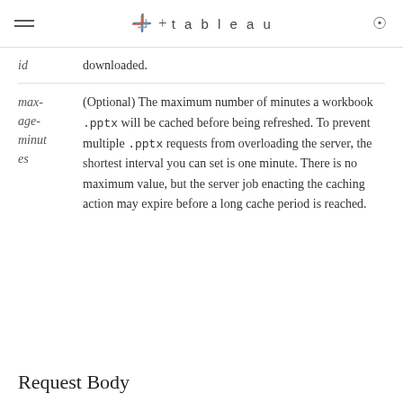tableau
id   downloaded.
max-age-minutes   (Optional) The maximum number of minutes a workbook .pptx will be cached before being refreshed. To prevent multiple .pptx requests from overloading the server, the shortest interval you can set is one minute. There is no maximum value, but the server job enacting the caching action may expire before a long cache period is reached.
Request Body